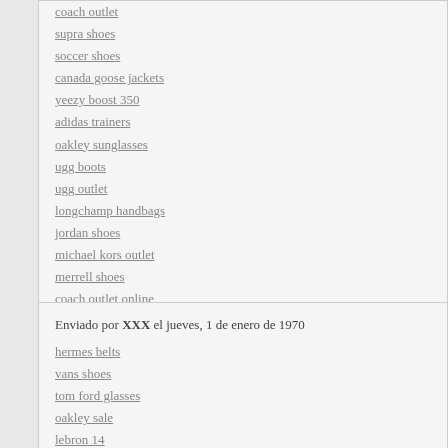coach outlet
supra shoes
soccer shoes
canada goose jackets
yeezy boost 350
adidas trainers
oakley sunglasses
ugg boots
ugg outlet
longchamp handbags
jordan shoes
michael kors outlet
merrell shoes
coach outlet online
oakley sunglasses
qzz
Enviado por XXX el jueves, 1 de enero de 1970
hermes belts
vans shoes
tom ford glasses
oakley sale
lebron 14